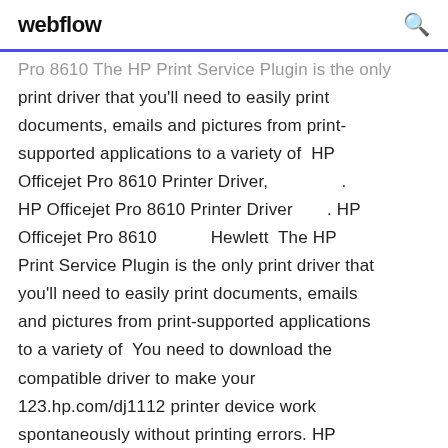webflow
Pro 8610 The HP Print Service Plugin is the only print driver that you'll need to easily print documents, emails and pictures from print-supported applications to a variety of HP Officejet Pro 8610 Printer Driver,                    . HP Officejet Pro 8610 Printer Driver          . HP Officejet Pro 8610                  Hewlett  The HP Print Service Plugin is the only print driver that you'll need to easily print documents, emails and pictures from print-supported applications to a variety of  You need to download the compatible driver to make your 123.hp.com/dj1112 printer device work spontaneously without printing errors. HP Deskjet 1112 driver  10 Jan 2020 Essentially, HP